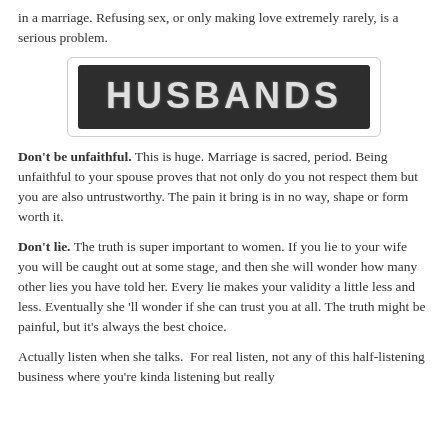in a marriage. Refusing sex, or only making love extremely rarely, is a serious problem.
[Figure (illustration): Dark chalkboard-style banner with large bold white text reading HUSBANDS, bordered by a white rounded rectangle frame.]
Don't be unfaithful. This is huge. Marriage is sacred, period. Being unfaithful to your spouse proves that not only do you not respect them but you are also untrustworthy. The pain it bring is in no way, shape or form worth it.
Don't lie. The truth is super important to women. If you lie to your wife you will be caught out at some stage, and then she will wonder how many other lies you have told her. Every lie makes your validity a little less and less. Eventually she 'll wonder if she can trust you at all. The truth might be painful, but it's always the best choice.
Actually listen when she talks.  For real listen, not any of this half-listening business where you're kinda listening but really